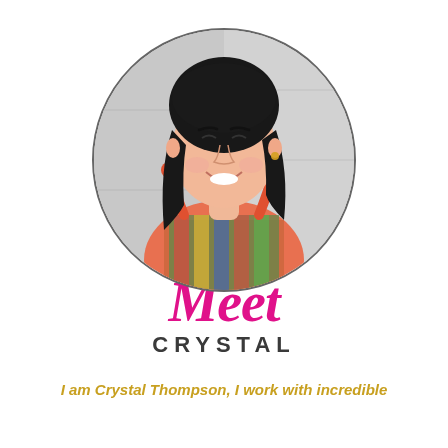[Figure (photo): Circular portrait photo of Crystal Thompson, a smiling woman with dark shoulder-length hair wearing a colorful top with red tie straps, set against a light grey background. The photo is cropped in a circle with a thin dark border.]
Meet CRYSTAL
I am Crystal Thompson, I work with incredible